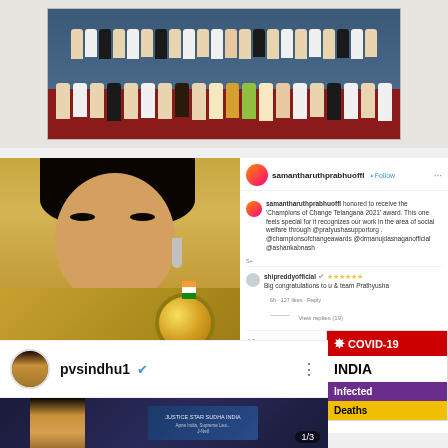[Figure (photo): Group photo of many people seated and standing at a formal event with blue backdrop]
[Figure (photo): Samantha Ruth Prabhu in gold saree holding a medal - Instagram post with comments from shipreddyofficial congratulating her on Champions of Change Telangana 2021 award]
samantharuthprabhuoffl • Follow
samantharuthprabhuoffl honored to receive the 'Champions of Change Telangana 2021' award. This one feels special for it recognizes our work in the area of social welfare through @pratyushasupportorg @championsofchangeawards @drmanujdasnaganofficial @ashankabnash
shipreddyofficial ★★★★★★ Big congratulations to u & team Prathyusha
View replies (18)
754,980 likes
4 HOURS AGO
[Figure (infographic): COVID-19 India tracker widget showing Infected and Deaths counters]
COVID-19
INDIA
Infected
Deaths
pvsindhu1
[Figure (photo): PV Sindhu at what appears to be a Justice Star Sudha India award event, photo counter showing 1/3]